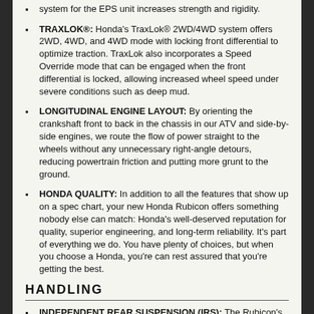system for the EPS unit increases strength and rigidity.
TRAXLOK®: Honda's TraxLok® 2WD/4WD system offers 2WD, 4WD, and 4WD mode with locking front differential to optimize traction. TraxLok also incorporates a Speed Override mode that can be engaged when the front differential is locked, allowing increased wheel speed under severe conditions such as deep mud.
LONGITUDINAL ENGINE LAYOUT: By orienting the crankshaft front to back in the chassis in our ATV and side-by-side engines, we route the flow of power straight to the wheels without any unnecessary right-angle detours, reducing powertrain friction and putting more grunt to the ground.
HONDA QUALITY: In addition to all the features that show up on a spec chart, your new Honda Rubicon offers something nobody else can match: Honda's well-deserved reputation for quality, superior engineering, and long-term reliability. It's part of everything we do. You have plenty of choices, but when you choose a Honda, you're can rest assured that you're getting the best.
HANDLING
INDEPENDENT REAR SUSPENSION (IRS): The Rubicon's Independent Rear Suspension (IRS) returns two big benefits: First, it helps ensure constant tire contact with the ground for superior traction; second, it gives you a